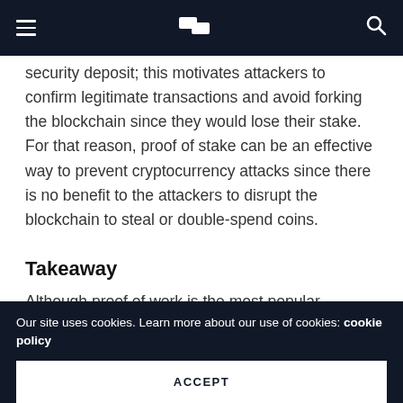security deposit; this motivates attackers to confirm legitimate transactions and avoid forking the blockchain since they would lose their stake. For that reason, proof of stake can be an effective way to prevent cryptocurrency attacks since there is no benefit to the attackers to disrupt the blockchain to steal or double-spend coins.
Takeaway
Although proof of work is the most popular blockchain
Our site uses cookies. Learn more about our use of cookies: cookie policy
ACCEPT